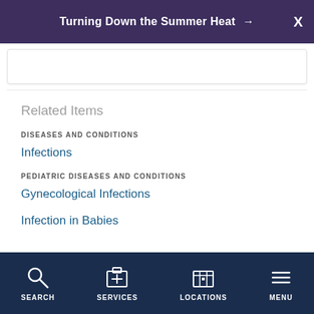Turning Down the Summer Heat →  X
Related Items
DISEASES AND CONDITIONS
Infections
PEDIATRIC DISEASES AND CONDITIONS
Gynecological Infections
Infection in Babies
SEARCH   SERVICES   LOCATIONS   MENU